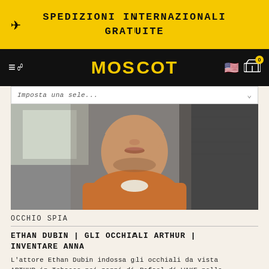SPEDIZIONI INTERNAZIONALI GRATUITE
[Figure (screenshot): MOSCOT website navigation bar with hamburger menu, search icon, MOSCOT logo in yellow, US flag, and shopping cart icon with badge showing 0]
[Figure (photo): Photo of actor Ethan Dubin wearing an orange knit sweater, face partially visible from nose down, blurred background]
OCCHIO SPIA
ETHAN DUBIN | GLI OCCHIALI ARTHUR | INVENTARE ANNA
L'attore Ethan Dubin indossa gli occhiali da vista ARTHUR in Tobacco nei panni di Rafael di WAKE nella serie Netflix di successo Inventing An...